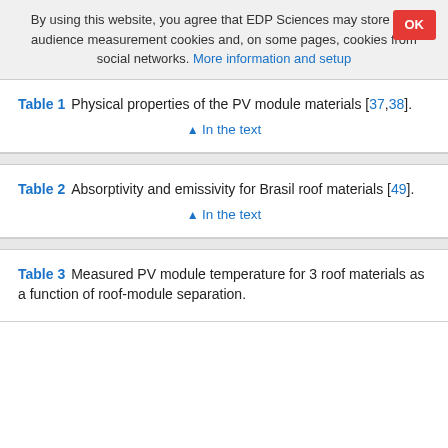By using this website, you agree that EDP Sciences may store web audience measurement cookies and, on some pages, cookies from social networks. More information and setup
Table 1   Physical properties of the PV module materials [37,38].
↑ In the text
Table 2   Absorptivity and emissivity for Brasil roof materials [49].
↑ In the text
Table 3   Measured PV module temperature for 3 roof materials as a function of roof-module separation.